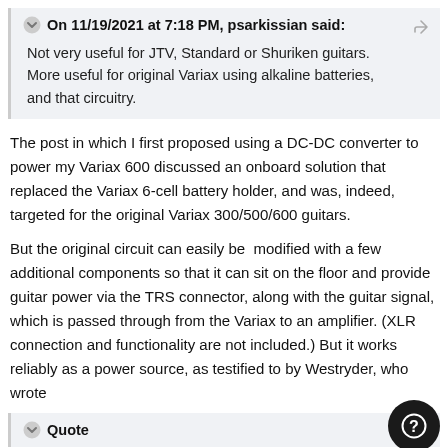On 11/19/2021 at 7:18 PM, psarkissian said:
Not very useful for JTV, Standard or Shuriken guitars. More useful for original Variax using alkaline batteries, and that circuitry.
The post in which I first proposed using a DC-DC converter to power my Variax 600 discussed an onboard solution that replaced the Variax 6-cell battery holder, and was, indeed, targeted for the original Variax 300/500/600 guitars.
But the original circuit can easily be  modified with a few additional components so that it can sit on the floor and provide guitar power via the TRS connector, along with the guitar signal, which is passed through from the Variax to an amplifier. (XLR  connection and functionality are not included.) But it works reliably as a power source, as testified to by Westryder, who wrote
Quote